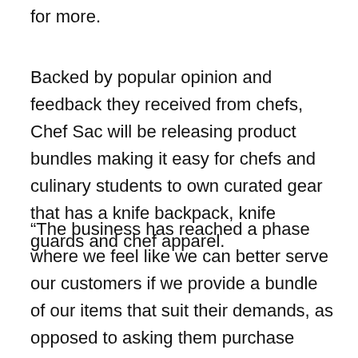for more.
Backed by popular opinion and feedback they received from chefs, Chef Sac will be releasing product bundles making it easy for chefs and culinary students to own curated gear that has a knife backpack, knife guards and chef apparel.
“The business has reached a phase where we feel like we can better serve our customers if we provide a bundle of our items that suit their demands, as opposed to asking them purchase each individual product separately,” Keith points out.